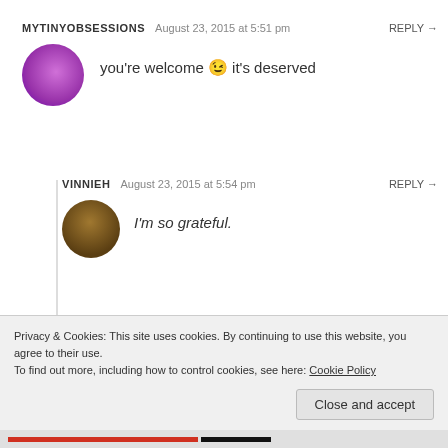MYTINYOBSESSIONS  August 23, 2015 at 5:51 pm  REPLY →
you're welcome 😉 it's deserved
VINNIEH  August 23, 2015 at 5:54 pm  REPLY →
I'm so grateful.
Privacy & Cookies: This site uses cookies. By continuing to use this website, you agree to their use.
To find out more, including how to control cookies, see here: Cookie Policy